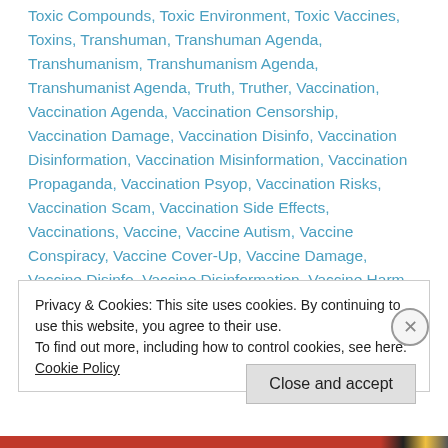Toxic Compounds, Toxic Environment, Toxic Vaccines, Toxins, Transhuman, Transhuman Agenda, Transhumanism, Transhumanism Agenda, Transhumanist Agenda, Truth, Truther, Vaccination, Vaccination Agenda, Vaccination Censorship, Vaccination Damage, Vaccination Disinfo, Vaccination Disinformation, Vaccination Misinformation, Vaccination Propaganda, Vaccination Psyop, Vaccination Risks, Vaccination Scam, Vaccination Side Effects, Vaccinations, Vaccine, Vaccine Autism, Vaccine Conspiracy, Vaccine Cover-Up, Vaccine Damage, Vaccine Disinfo, Vaccine Disinformation, Vaccine Harm, Vaccine Industry, Vaccine Misinformation, Vaccine Propaganda, Vaccine Risks, Vaccine
Privacy & Cookies: This site uses cookies. By continuing to use this website, you agree to their use.
To find out more, including how to control cookies, see here: Cookie Policy